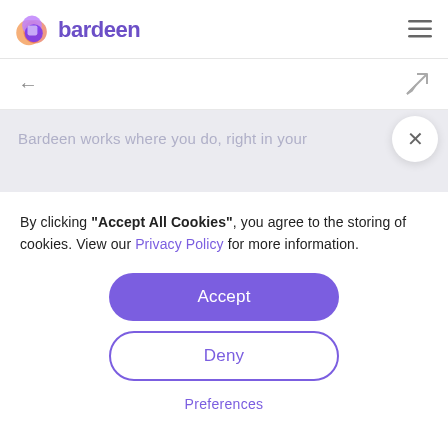bardeen
[Figure (screenshot): Bardeen website screenshot showing partially visible text: 'Bardeen works where you do, right in your']
By clicking "Accept All Cookies", you agree to the storing of cookies. View our Privacy Policy for more information.
Accept
Deny
Preferences